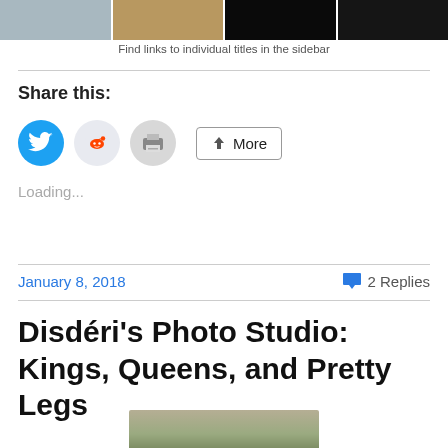[Figure (photo): Strip of four thumbnail photos at top of page]
Find links to individual titles in the sidebar
Share this:
[Figure (infographic): Share buttons: Twitter (blue circle), Reddit (light blue circle), Print (grey circle), and More button]
Loading...
January 8, 2018
2 Replies
Disdéri's Photo Studio: Kings, Queens, and Pretty  Legs
[Figure (photo): Partial photo visible at bottom of page]